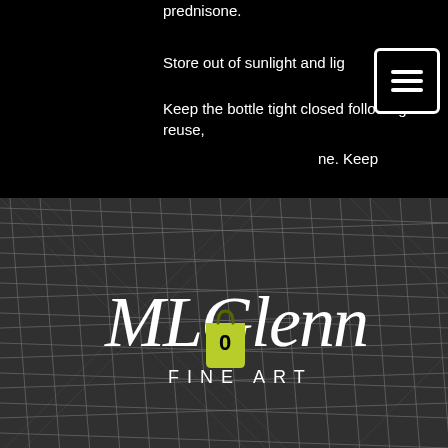prednisone.
Store out of sunlight and lig...
Keep the bottle tight closed following reuse,
ne. Keep
[Figure (logo): MLGlenn Fine Art logo — white handwritten script 'MLGlenn' over 'FINE ART' on a dark pencil-sketch textured background]
[Figure (other): Shopping cart / bag icon showing '0' in yellow-green on dark background]
bel.
Keep out of the reach of children, can you lose weight while on prednisone.
Do not sto...ny drug in a closed container or in a bathroom without the lid securely fastened.
Prednisone 20 mg tablet picture
Steroids for sale dubai A single steroid shot...